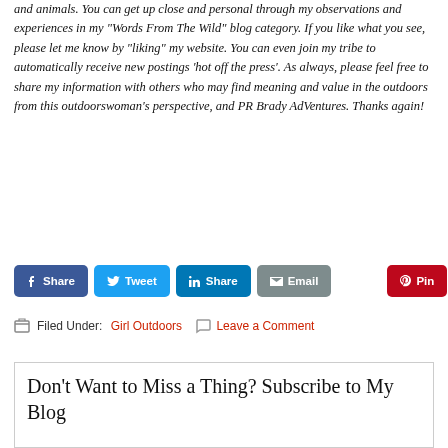and animals. You can get up close and personal through my observations and experiences in my “Words From The Wild” blog category. If you like what you see, please let me know by “liking” my website. You can even join my tribe to automatically receive new postings ‘hot off the press’. As always, please feel free to share my information with others who may find meaning and value in the outdoors from this outdoorswoman’s perspective, and PR Brady AdVentures. Thanks again!
[Figure (other): Social share buttons: Facebook Share, Twitter Tweet, LinkedIn Share, Email, Pinterest Pin]
Filed Under: Girl Outdoors   Leave a Comment
Don’t Want to Miss a Thing? Subscribe to My Blog